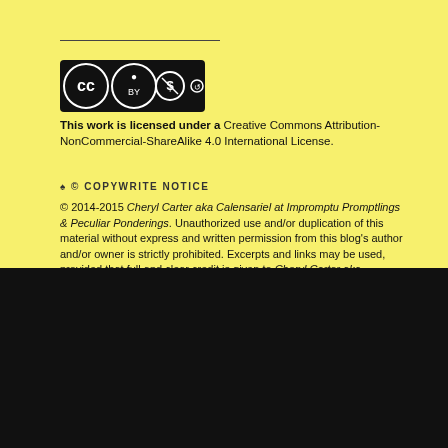[Figure (logo): Creative Commons BY NC SA license badge with CC, person, dollar-slash, and share-alike icons]
This work is licensed under a Creative Commons Attribution-NonCommercial-ShareAlike 4.0 International License.
♠ © COPYWRITE NOTICE
© 2014-2015 Cheryl Carter aka Calensariel at Impromptu Promptlings & Peculiar Ponderings. Unauthorized use and/or duplication of this material without express and written permission from this blog's author and/or owner is strictly prohibited. Excerpts and links may be used, provided that full and clear credit is given to Cheryl Carter aka Calensariel at Impromptu Promptlings & Peculiar Ponderings with appropriate and specific direction to the original content.
BLOG STATS
112,427 Views